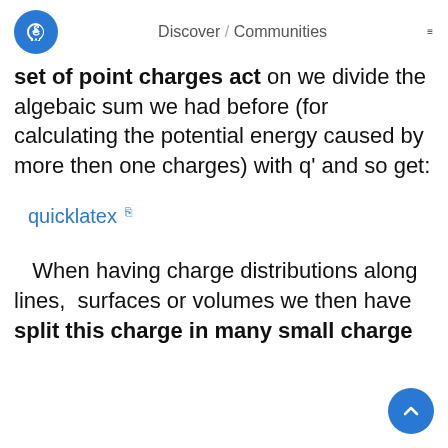Discover / Communities
set of point charges act on we divide the algebaic sum we had before (for calculating the potential energy caused by more then one charges) with q' and so get:
quicklatex ↗
When having charge distributions along lines,  surfaces or volumes we then have split this charge in many small charge